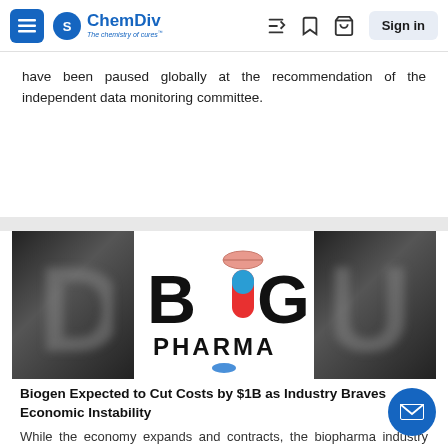ChemDiv – The chemistry of cures
have been paused globally at the recommendation of the independent data monitoring committee.
[Figure (illustration): Big Pharma logo centered on dark blurred background showing large letters. The logo shows 'BIG PHARMA' text with pill/capsule graphics replacing some letters.]
Biogen Expected to Cut Costs by $1B as Industry Braves Economic Instability
While the economy expands and contracts, the biopharma industry follows, and many life science companies are